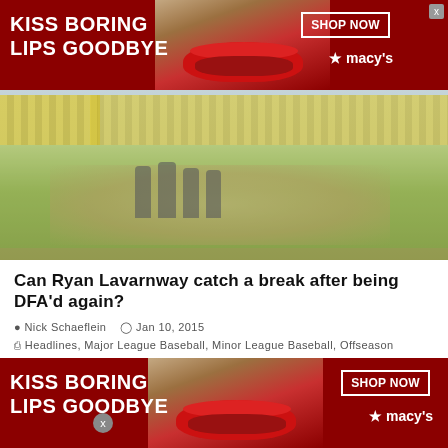[Figure (illustration): Macy's advertisement banner: dark red background with woman's lips, text 'KISS BORING LIPS GOODBYE', 'SHOP NOW' button, Macy's star logo]
[Figure (photo): Baseball field with players standing on the grass, stadium seats visible in background]
Can Ryan Lavarnway catch a break after being DFA'd again?
Nick Schaeflein   Jan 10, 2015
Headlines, Major League Baseball, Minor League Baseball, Offseason
This offseason has seen several players pack their bags, change teams, and relocate to new cities. However, nobody has lived out of a suitcase more than Ryan Lavarnway. Since
[Figure (illustration): Macy's advertisement banner (bottom): dark red background with woman's lips, text 'KISS BORING LIPS GOODBYE', 'SHOP NOW' button, Macy's star logo]